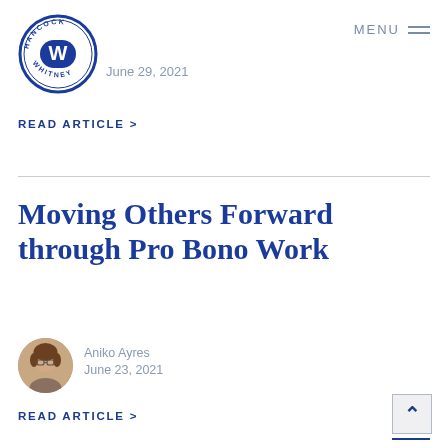[Figure (logo): Hancock Whitney circular logo with blue border and W emblem]
June 29, 2021
READ ARTICLE >
Moving Others Forward through Pro Bono Work
[Figure (photo): Author photo of Aniko Ayres, a woman with glasses and brown hair]
Aniko Ayres
June 23, 2021
READ ARTICLE >